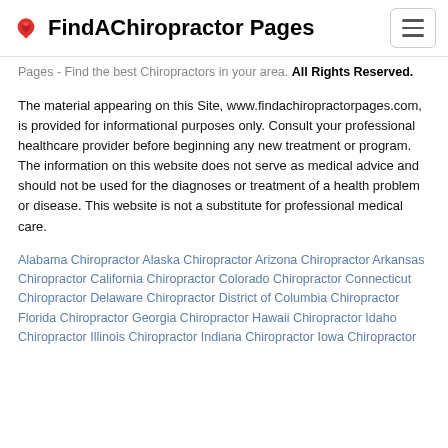FindAChiropractor Pages
Pages - Find the best Chiropractors in your area. All Rights Reserved.
The material appearing on this Site, www.findachiropractorpages.com, is provided for informational purposes only. Consult your professional healthcare provider before beginning any new treatment or program. The information on this website does not serve as medical advice and should not be used for the diagnoses or treatment of a health problem or disease. This website is not a substitute for professional medical care.
Alabama Chiropractor Alaska Chiropractor Arizona Chiropractor Arkansas Chiropractor California Chiropractor Colorado Chiropractor Connecticut Chiropractor Delaware Chiropractor District of Columbia Chiropractor Florida Chiropractor Georgia Chiropractor Hawaii Chiropractor Idaho Chiropractor Illinois Chiropractor Indiana Chiropractor Iowa Chiropractor